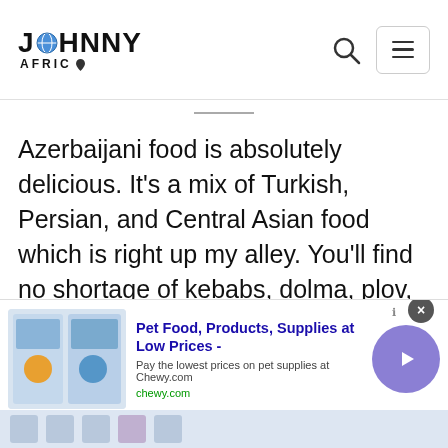[Figure (logo): Johnny Africa website logo with globe icon and Africa continent icon]
Azerbaijani food is absolutely delicious. It’s a mix of Turkish, Persian, and Central Asian food which is right up my alley. You’ll find no shortage of kebabs, dolma, plov, stews, dumplings and the like. The food is cooked with an array of different spices and herbs that have evolved over centuries of being at the forefront of the silk road.
[Figure (screenshot): Advertisement banner for Chewy.com - Pet Food, Products, Supplies at Low Prices. Pay the lowest prices on pet supplies at Chewy.com]